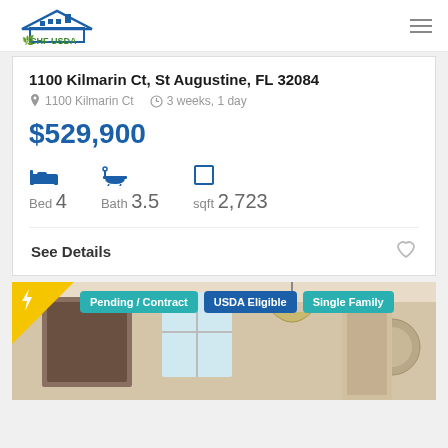[Figure (logo): CHF USDA logo with house/roof graphic and grass, blue text]
1100 Kilmarin Ct, St Augustine, FL 32084
1100 Kilmarin Ct   3 weeks, 1 day
$529,900
Bed 4   Bath 3.5   sqft 2,723
See Details
[Figure (photo): Interior room photo showing bathroom/hallway with light fixture, with tags: Pending / Contract, USDA Eligible, Single Family. Yellow triangle with bolt icon in top-left corner.]